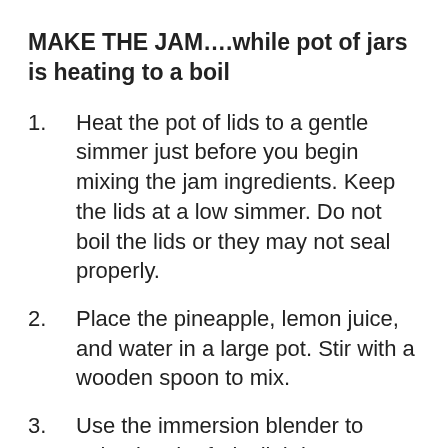MAKE THE JAM….while pot of jars is heating to a boil
1.      Heat the pot of lids to a gentle simmer just before you begin mixing the jam ingredients. Keep the lids at a low simmer. Do not boil the lids or they may not seal properly.
2.      Place the pineapple, lemon juice, and water in a large pot. Stir with a wooden spoon to mix.
3.      Use the immersion blender to pulverize the fruit slightly.
4.      Sprinkle the pectin over the mixture and stir well.
5.      Use the immersion blender to completely pulverize the ingredients in the pot.
6.      Keep a trivet on your counter where you will